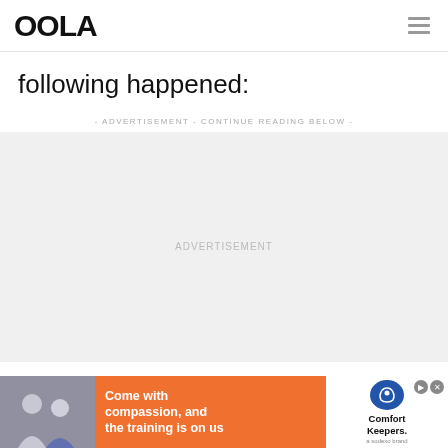OOLA
following happened:
- ADVERTISEMENT - CONTINUE READING BELOW -
[Figure (other): Advertisement placeholder area with light gray background]
[Figure (other): Bottom banner advertisement for Comfort Keepers: 'Come with compassion, and the training is on us' with orange background, photo of two people, and Comfort Keepers logo]